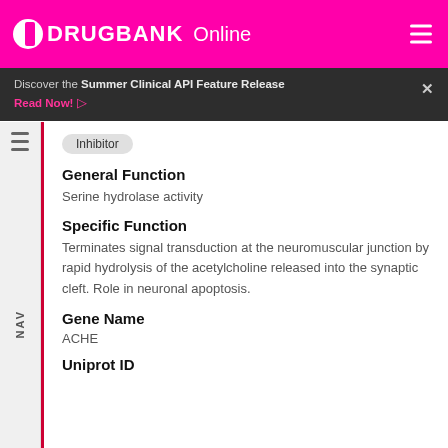DRUGBANK Online
Discover the Summer Clinical API Feature Release
Read Now!
Inhibitor
General Function
Serine hydrolase activity
Specific Function
Terminates signal transduction at the neuromuscular junction by rapid hydrolysis of the acetylcholine released into the synaptic cleft. Role in neuronal apoptosis.
Gene Name
ACHE
Uniprot ID